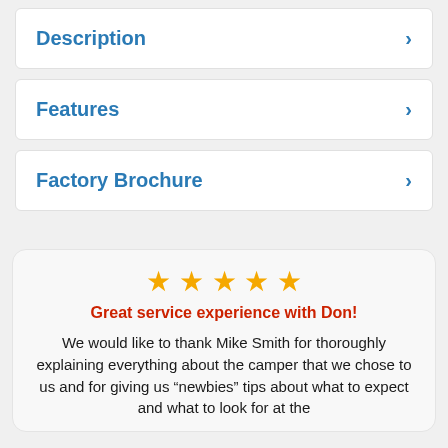Description
Features
Factory Brochure
[Figure (other): Five gold star rating icons]
Great service experience with Don!
We would like to thank Mike Smith for thoroughly explaining everything about the camper that we chose to us and for giving us “newbies” tips about what to expect and what to look for at the